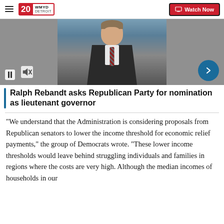20 WMYD DETROIT | Watch Now
[Figure (photo): Video player showing a man in a dark suit and tie with a blue background. Pause and mute controls visible at bottom left, arrow button at bottom right.]
Ralph Rebandt asks Republican Party for nomination as lieutenant governor
“We understand that the Administration is considering proposals from Republican senators to lower the income threshold for economic relief payments,” the group of Democrats wrote. “These lower income thresholds would leave behind struggling individuals and families in regions where the costs are very high. Although the median incomes of households in our